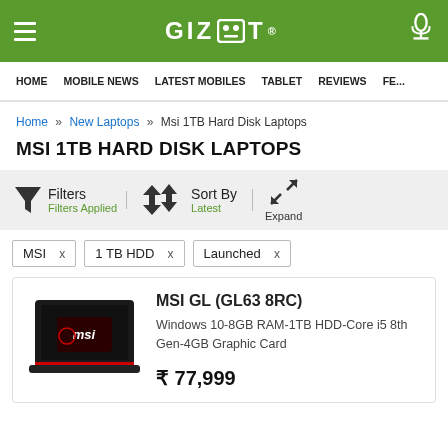GIZBOT
HOME  MOBILE NEWS  LATEST MOBILES  TABLET  REVIEWS  FE...
Home » New Laptops » Msi 1TB Hard Disk Laptops
MSI 1TB HARD DISK LAPTOPS
Filters | Filters Applied | Sort By | Latest | Expand
MSI x
1 TB HDD x
Launched x
MSI GL (GL63 8RC)
Windows 10-8GB RAM-1TB HDD-Core i5 8th Gen-4GB Graphic Card
₹ 77,999